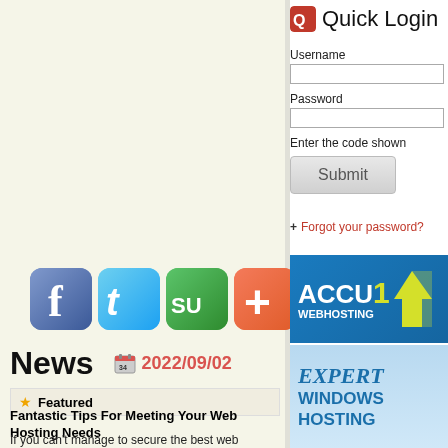[Figure (screenshot): Social media share icons: Facebook (f), Twitter (bird/t), StumbleUpon (SU), and an orange plus/add button]
News   2022/09/02
Featured
Fantastic Tips For Meeting Your Web Hosting Needs
If you can't manage to secure the best web hosting plan, you might end up with
Quick Login
Username
Password
Enter the code shown
Submit
+ Forgot your password?
[Figure (logo): ACCU1 WEBHOSTING logo on blue background]
[Figure (illustration): EXPERT WINDOWS HOSTING text on light blue background]